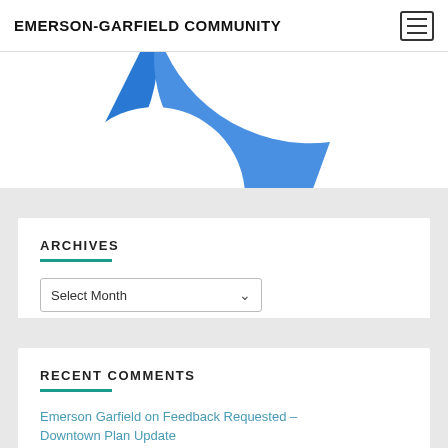EMERSON-GARFIELD COMMUNITY
[Figure (illustration): Partial view of a blue donut/pie chart at the top of the page content area]
ARCHIVES
Select Month
RECENT COMMENTS
Emerson Garfield on Feedback Requested – Downtown Plan Update